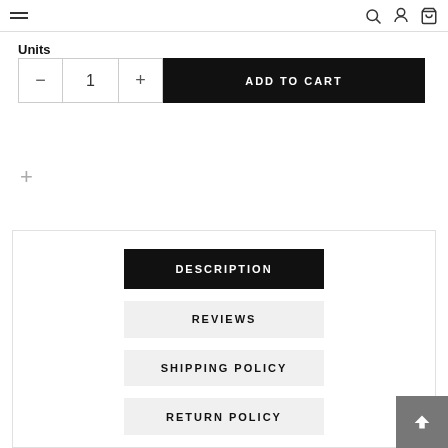navigation header with hamburger menu, search, account, and cart icons
Units
— 1 +
ADD TO CART
+
DESCRIPTION
REVIEWS
SHIPPING POLICY
RETURN POLICY